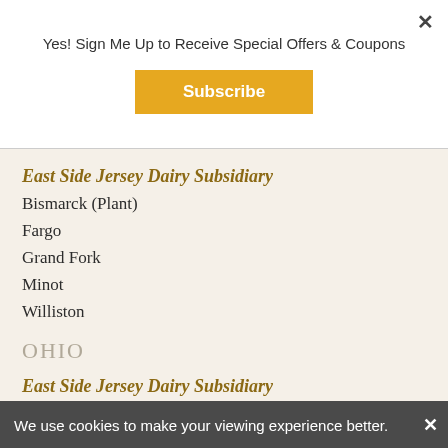Yes! Sign Me Up to Receive Special Offers & Coupons
Subscribe
East Side Jersey Dairy Subsidiary
Bismarck (Plant)
Fargo
Grand Fork
Minot
Williston
OHIO
East Side Jersey Dairy Subsidiary
Akron
Dayton (Plant)
Huber Heights
Marietta (Plant)
Old Washington
We use cookies to make your viewing experience better.